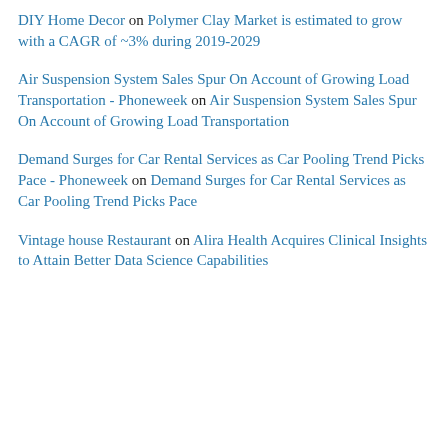DIY Home Decor on Polymer Clay Market is estimated to grow with a CAGR of ~3% during 2019-2029
Air Suspension System Sales Spur On Account of Growing Load Transportation - Phoneweek on Air Suspension System Sales Spur On Account of Growing Load Transportation
Demand Surges for Car Rental Services as Car Pooling Trend Picks Pace - Phoneweek on Demand Surges for Car Rental Services as Car Pooling Trend Picks Pace
Vintage house Restaurant on Alira Health Acquires Clinical Insights to Attain Better Data Science Capabilities